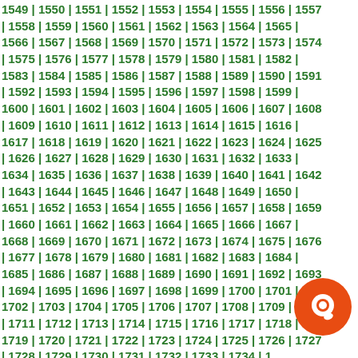1549 | 1550 | 1551 | 1552 | 1553 | 1554 | 1555 | 1556 | 1557 | 1558 | 1559 | 1560 | 1561 | 1562 | 1563 | 1564 | 1565 | 1566 | 1567 | 1568 | 1569 | 1570 | 1571 | 1572 | 1573 | 1574 | 1575 | 1576 | 1577 | 1578 | 1579 | 1580 | 1581 | 1582 | 1583 | 1584 | 1585 | 1586 | 1587 | 1588 | 1589 | 1590 | 1591 | 1592 | 1593 | 1594 | 1595 | 1596 | 1597 | 1598 | 1599 | 1600 | 1601 | 1602 | 1603 | 1604 | 1605 | 1606 | 1607 | 1608 | 1609 | 1610 | 1611 | 1612 | 1613 | 1614 | 1615 | 1616 | 1617 | 1618 | 1619 | 1620 | 1621 | 1622 | 1623 | 1624 | 1625 | 1626 | 1627 | 1628 | 1629 | 1630 | 1631 | 1632 | 1633 | 1634 | 1635 | 1636 | 1637 | 1638 | 1639 | 1640 | 1641 | 1642 | 1643 | 1644 | 1645 | 1646 | 1647 | 1648 | 1649 | 1650 | 1651 | 1652 | 1653 | 1654 | 1655 | 1656 | 1657 | 1658 | 1659 | 1660 | 1661 | 1662 | 1663 | 1664 | 1665 | 1666 | 1667 | 1668 | 1669 | 1670 | 1671 | 1672 | 1673 | 1674 | 1675 | 1676 | 1677 | 1678 | 1679 | 1680 | 1681 | 1682 | 1683 | 1684 | 1685 | 1686 | 1687 | 1688 | 1689 | 1690 | 1691 | 1692 | 1693 | 1694 | 1695 | 1696 | 1697 | 1698 | 1699 | 1700 | 1701 | 1702 | 1703 | 1704 | 1705 | 1706 | 1707 | 1708 | 1709 | 1710 | 1711 | 1712 | 1713 | 1714 | 1715 | 1716 | 1717 | 1718 | 1719 | 1720 | 1721 | 1722 | 1723 | 1724 | 1725 | 1726 | 1727 | 1728 | 1729 | 1730 | 1731 | 1732 | 1733 | 1734 | 1736 | 1737 | 1738 | 1739 | 1740 | 1741 | 1742 | 1745 | 1746 | 1747 | 1748 | 1749 | 1750 | 1751 | 1753 | 1754 | 1755 | 1756 | 1757 | 1758 | 1759 | 1760 | 1761 | 1762 | 1763 | 1764 | 1765 | 1766 | 1767 | 1768 | 1769
[Figure (illustration): Orange circular chat bubble icon overlaid on bottom-right area of the number list]